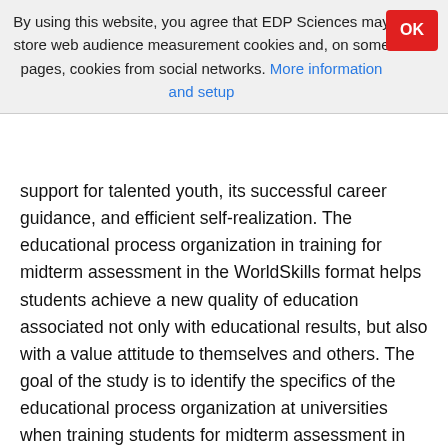By using this website, you agree that EDP Sciences may store web audience measurement cookies and, on some pages, cookies from social networks. More information and setup
support for talented youth, its successful career guidance, and efficient self-realization. The educational process organization in training for midterm assessment in the WorldSkills format helps students achieve a new quality of education associated not only with educational results, but also with a value attitude to themselves and others. The goal of the study is to identify the specifics of the educational process organization at universities when training students for midterm assessment in the WorldSkills format. The research methods include theoretical analysis of pedagogical theory, practice, and experience in vocational training; modeling, comparison, referencing, and generalization; expert assessment method; and methods of qualitative and quantitative processing of research results. The main results of the study are the following: the content of the process of